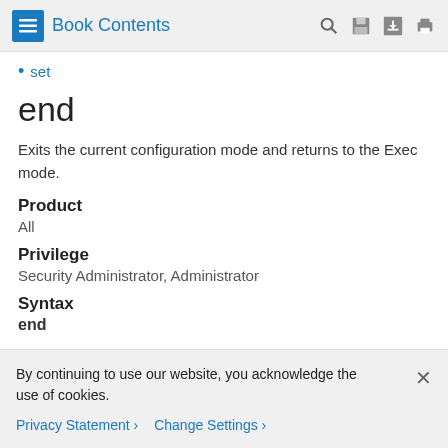Book Contents
set
end
Exits the current configuration mode and returns to the Exec mode.
Product
All
Privilege
Security Administrator, Administrator
Syntax
end
By continuing to use our website, you acknowledge the use of cookies.
Privacy Statement > Change Settings >